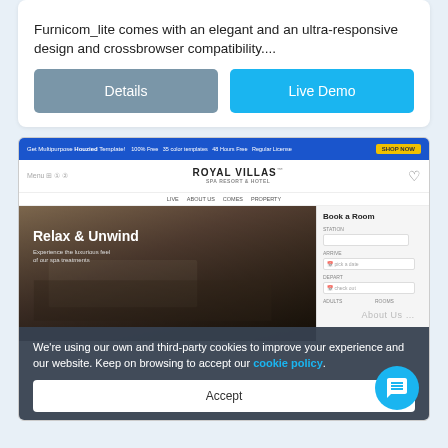Furnicom_lite comes with an elegant and an ultra-responsive design and crossbrowser compatibility....
Details
Live Demo
[Figure (screenshot): Screenshot of Royal Villas Spa Resort & Hotel website showing 'Relax & Unwind' hero image of a hotel room, Book a Room panel, and a cookie consent overlay reading: We're using our own and third-party cookies to improve your experience and our website. Keep on browsing to accept our cookie policy. With an Accept button and a blue chat bubble in the bottom right.]